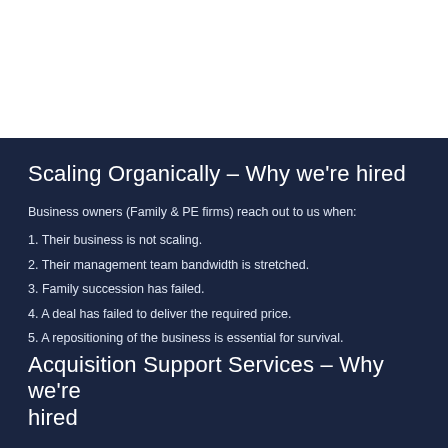Scaling Organically – Why we're hired
Business owners (Family & PE firms) reach out to us when:
1. Their business is not scaling.
2. Their management team bandwidth is stretched.
3. Family succession has failed.
4. A deal has failed to deliver the required price.
5. A repositioning of the business is essential for survival.
Acquisition Support Services – Why we're hired